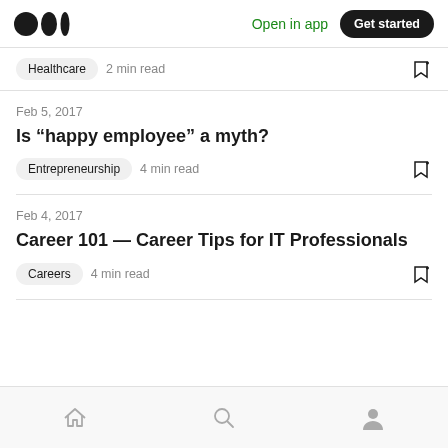Open in app  Get started
Healthcare  2 min read
Feb 5, 2017
Is “happy employee” a myth?
Entrepreneurship  4 min read
Feb 4, 2017
Career 101 — Career Tips for IT Professionals
Careers  4 min read
Home  Search  Profile